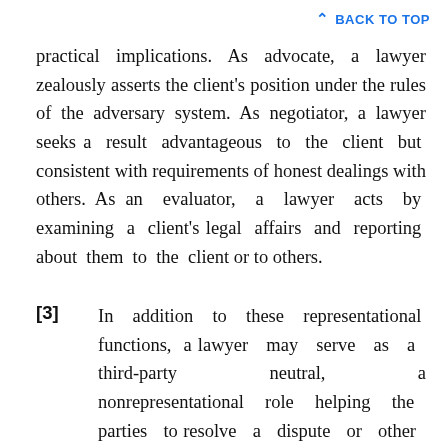BACK TO TOP
practical implications. As advocate, a lawyer zealously asserts the client's position under the rules of the adversary system. As negotiator, a lawyer seeks a result advantageous to the client but consistent with requirements of honest dealings with others. As an evaluator, a lawyer acts by examining a client's legal affairs and reporting about them to the client or to others.
[3] In addition to these representational functions, a lawyer may serve as a third-party neutral, a nonrepresentational role helping the parties to resolve a dispute or other matter. Some of these Rules apply directly to lawyers who are or have served as third-party neutrals. See, e.g., Rules 1.12 and 2.4. In